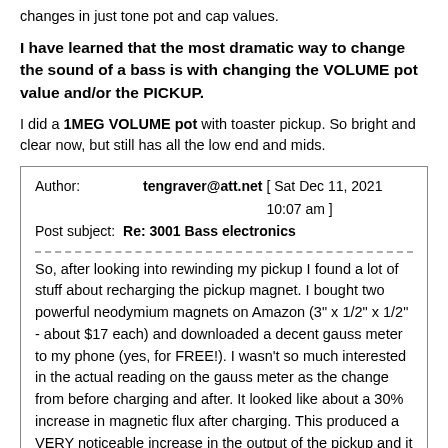changes in just tone pot and cap values.
I have learned that the most dramatic way to change the sound of a bass is with changing the VOLUME pot value and/or the PICKUP.
I did a 1MEG VOLUME pot with toaster pickup. So bright and clear now, but still has all the low end and mids.
| Author: | tengraver@att.net [ Sat Dec 11, 2021 10:07 am ] |
| Post subject: | Re: 3001 Bass electronics |
So, after looking into rewinding my pickup I found a lot of stuff about recharging the pickup magnet. I bought two powerful neodymium magnets on Amazon (3" x 1/2" x 1/2" - about $17 each) and downloaded a decent gauss meter to my phone (yes, for FREE!). I wasn't so much interested in the actual reading on the gauss meter as the change from before charging and after. It looked like about a 30% increase in magnetic flux after charging. This produced a VERY noticeable increase in the output of the pickup and it seems like I've got my great sounding and powerful bass back! I don't have to run the volume twice as high as with my P-bass or 5 string Yamaha anymore; they all have very similar